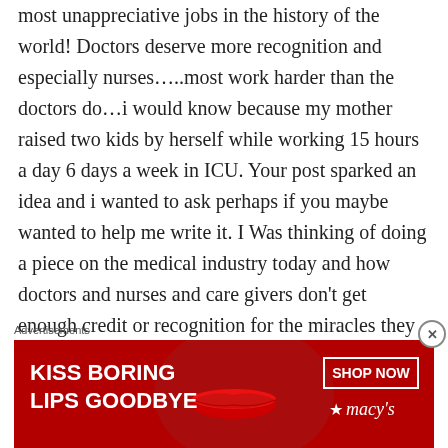most unappreciative jobs in the history of the world! Doctors deserve more recognition and especially nurses…..most work harder than the doctors do…i would know because my mother raised two kids by herself while working 15 hours a day 6 days a week in ICU. Your post sparked an idea and i wanted to ask perhaps if you maybe wanted to help me write it. I Was thinking of doing a piece on the medical industry today and how doctors and nurses and care givers don't get enough credit or recognition for the miracles they perform each day and try and decipher why that is and what needs to be done
Advertisements
[Figure (photo): Advertisement banner for Macy's lip product: red background with woman's face showing red lips, text 'KISS BORING LIPS GOODBYE', 'SHOP NOW' button, and Macy's star logo]